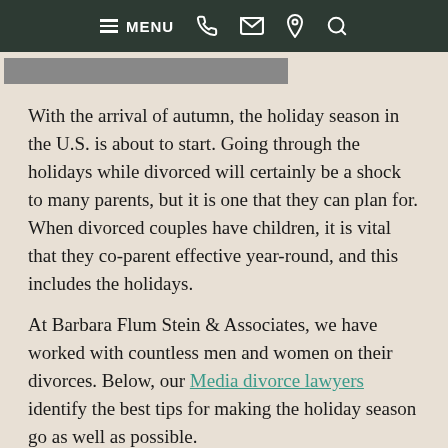MENU [phone] [mail] [location] [search]
[Figure (photo): Partial image visible at top left, cropped by navigation bar]
With the arrival of autumn, the holiday season in the U.S. is about to start. Going through the holidays while divorced will certainly be a shock to many parents, but it is one that they can plan for. When divorced couples have children, it is vital that they co-parent effective year-round, and this includes the holidays.
At Barbara Flum Stein & Associates, we have worked with countless men and women on their divorces. Below, our Media divorce lawyers identify the best tips for making the holiday season go as well as possible.
Plan Ahead
Being a good co-parent means being organized. You should have a parenting plan in place that will identify who the